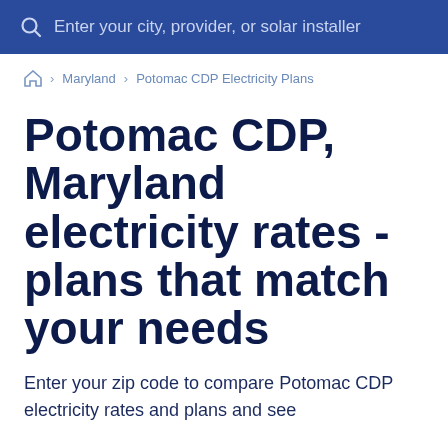Enter your city, provider, or solar installer
🏠 › Maryland › Potomac CDP Electricity Plans
Potomac CDP, Maryland electricity rates - plans that match your needs
Enter your zip code to compare Potomac CDP electricity rates and plans and see